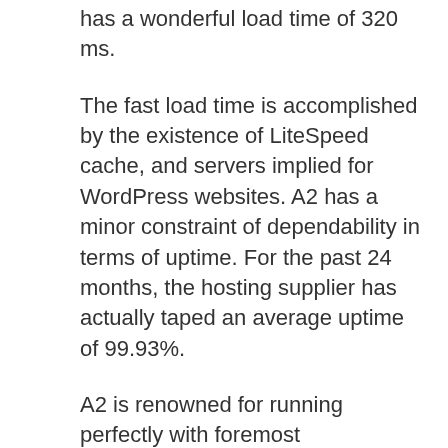has a wonderful load time of 320 ms.
The fast load time is accomplished by the existence of LiteSpeed cache, and servers implied for WordPress websites. A2 has a minor constraint of dependability in terms of uptime. For the past 24 months, the hosting supplier has actually taped an average uptime of 99.93%.
A2 is renowned for running perfectly with foremost management systems such as Joomla, WordPress, Drupal, Magneto, and OpenCart. It features a range of plans which have totally free site migration. LetsEncrypt SSL, and Unlimited SSD storage.